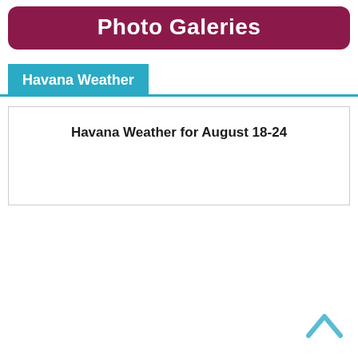Photo Galeries
Havana Weather
Havana Weather for August 18-24